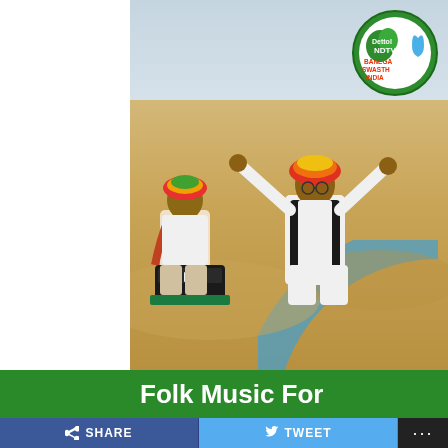[Figure (photo): Two Rajasthani folk musicians in colorful turbans sitting on desert sand dunes. One plays harmonium while the other gestures expressively with arms raised. Both wear traditional attire with scarves. A NDTV Banega Swasth India logo appears in the top right corner with a decorative blue arc on the right side.]
Folk Music For
SHARE   TWEET   ...